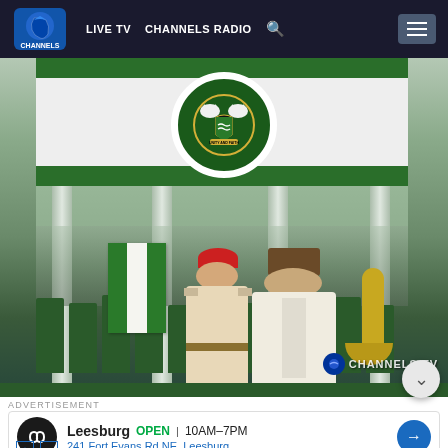LIVE TV  CHANNELS RADIO  [search]  [menu]
[Figure (photo): Channels TV screenshot showing a Nigerian military ceremony at what appears to be the Eagle Square or Aso Rock, with two figures (a soldier in red beret and an official in a traditional cap) standing on a podium bearing the Nigerian Coat of Arms, with military band members in green uniforms in the background. Channels TV watermark visible.]
ADVERTISEMENT
[Figure (screenshot): Advertisement showing Leesburg location: OPEN 10AM-7PM, 241 Fort Evans Rd NE, Leesburg, with a circular dark logo with infinity symbol and a blue navigation arrow icon.]